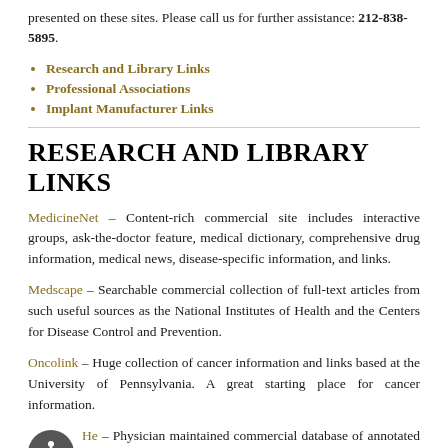presented on these sites. Please call us for further assistance: 212-838-5895.
Research and Library Links
Professional Associations
Implant Manufacturer Links
RESEARCH AND LIBRARY LINKS
MedicineNet – Content-rich commercial site includes interactive groups, ask-the-doctor feature, medical dictionary, comprehensive drug information, medical news, disease-specific information, and links.
Medscape – Searchable commercial collection of full-text articles from such useful sources as the National Institutes of Health and the Centers for Disease Control and Prevention.
Oncolink – Huge collection of cancer information and links based at the University of Pennsylvania. A great starting place for cancer information.
Healthlinks – Physician maintained commercial database of annotated health links. Oriented toward medical professionals, but accessible to an educated lay person. A keyword search gets you to a subject index